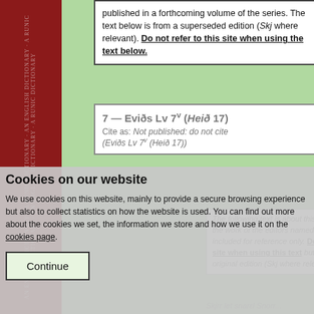published in a forthcoming volume of the series. The text below is from a superseded edition (Skj where relevant). Do not refer to this site when using the text below.
7 — Eviðs Lv 7ᵛ (Heið 17)
Cite as: Not published: do not cite (Eviðs Lv 7ᵛ (Heið 17))
Cookies on our website
We use cookies on this website, mainly to provide a secure browsing experience but also to collect statistics on how the website is used. You can find out more about the cookies we set, the information we store and how we use it on the cookies page.
Continue
The following text is about this edition and is not the work of the editors named on this page. It is included for reference only. Do not refer to this site when using this text but rather consult the original edition (Skj where relevant).
Skjrr let snarεI Snorr...